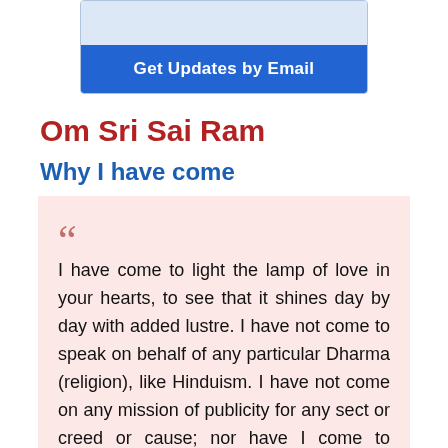[Figure (other): Email subscription box with blue input area and blue button labeled 'Get Updates by Email']
Om Sri Sai Ram
Why I have come
"I have come to light the lamp of love in your hearts, to see that it shines day by day with added lustre. I have not come to speak on behalf of any particular Dharma (religion), like Hinduism. I have not come on any mission of publicity for any sect or creed or cause; nor have I come to collect followers for any doctrine. I have no plan to attract disciples or devotees into My fold or any fold. I have come to tell you of this Universal, unitary...